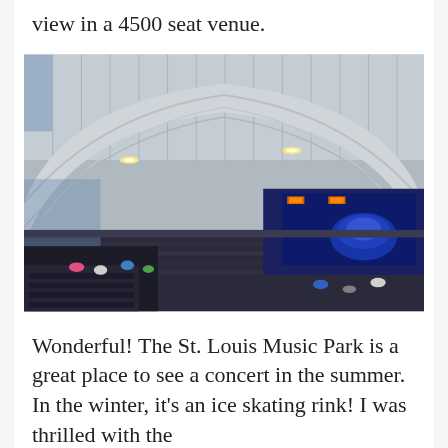view in a 4500 seat venue.
[Figure (photo): Interior photo of St. Louis Music Park showing a large arched roof structure over a crowded concert venue with a lit stage visible in the background displaying blue lighting.]
Wonderful! The St. Louis Music Park is a great place to see a concert in the summer. In the winter, it's an ice skating rink! I was thrilled with the